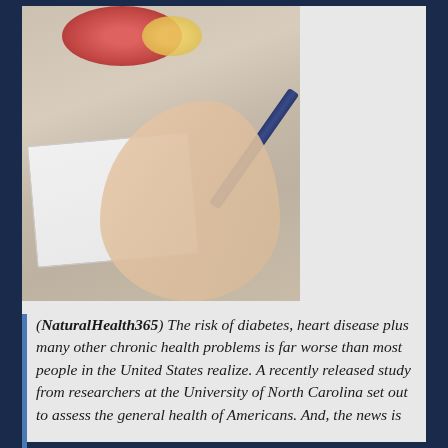[Figure (photo): Close-up photo of a person's hands holding a pen/lancet device near a notebook on a granite countertop, with a plate of fruit (strawberries, banana) visible in the upper left background.]
(NaturalHealth365) The risk of diabetes, heart disease plus many other chronic health problems is far worse than most people in the United States realize. A recently released study from researchers at the University of North Carolina set out to assess the general health of Americans. And, the news is